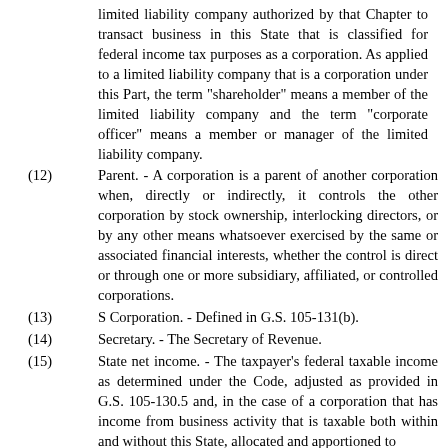limited liability company authorized by that Chapter to transact business in this State that is classified for federal income tax purposes as a corporation. As applied to a limited liability company that is a corporation under this Part, the term "shareholder" means a member of the limited liability company and the term "corporate officer" means a member or manager of the limited liability company.
(12)    Parent. - A corporation is a parent of another corporation when, directly or indirectly, it controls the other corporation by stock ownership, interlocking directors, or by any other means whatsoever exercised by the same or associated financial interests, whether the control is direct or through one or more subsidiary, affiliated, or controlled corporations.
(13)    S Corporation. - Defined in G.S. 105-131(b).
(14)    Secretary. - The Secretary of Revenue.
(15)    State net income. - The taxpayer's federal taxable income as determined under the Code, adjusted as provided in G.S. 105-130.5 and, in the case of a corporation that has income from business activity that is taxable both within and without this State, allocated and apportioned to